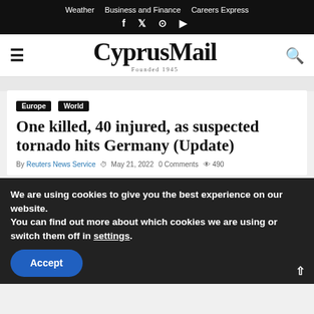Weather  Business and Finance  Careers Express  f  y  ⊙  ▶
CyprusMail
Founded 1945
Europe  World
One killed, 40 injured, as suspected tornado hits Germany (Update)
By Reuters News Service  ⊙ May 21, 2022  0 Comments  ◉ 490
We are using cookies to give you the best experience on our website.
You can find out more about which cookies we are using or switch them off in settings.
Accept